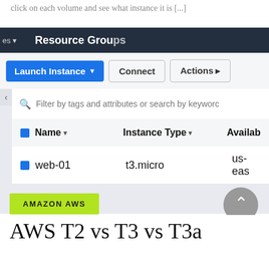click on each volume and see what instance it is [...]
[Figure (screenshot): AWS EC2 Instances console screenshot showing Resource Groups header, Launch Instance button (blue), Connect button, Actions button, search bar with 'Filter by tags and attributes or search by keyword', table with columns Name, Instance Type, Availability, and one row: web-01, t3.micro, us-east]
AMAZON AWS
AWS T2 vs T3 vs T3a